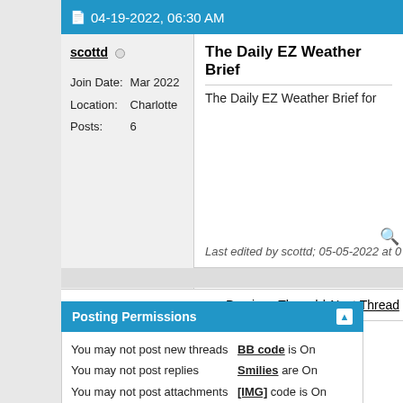04-19-2022, 06:30 AM
scottd
Join Date: Mar 2022
Location: Charlotte
Posts: 6
The Daily EZ Weather Brief
The Daily EZ Weather Brief for
Last edited by scottd; 05-05-2022 at 0
« Previous Thread | Next Thread »
Posting Permissions
You may not post new threads
You may not post replies
You may not post attachments
You may not edit your
BB code is On
Smilies are On
[IMG] code is On
[VIDEO] code is On
HTML code is Off